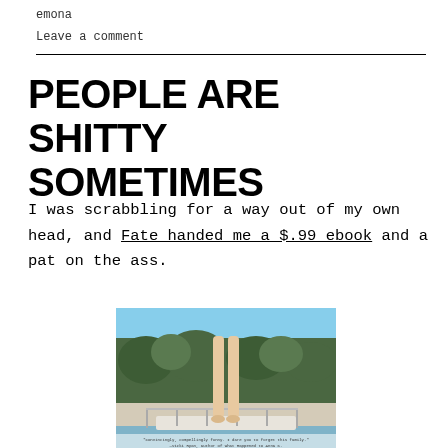emona
Leave a comment
PEOPLE ARE SHITTY SOMETIMES
I was scrabbling for a way out of my own head, and Fate handed me a $.99 ebook and a pat on the ass.
[Figure (photo): Book cover photo showing the legs of a person standing on a diving board over a pool, with trees in the background. Small caption text at the bottom.]
"Convincingly, compellingly funny. I dare you to forget this family." —Vicki Ryan, author of What Happened to Anna K.